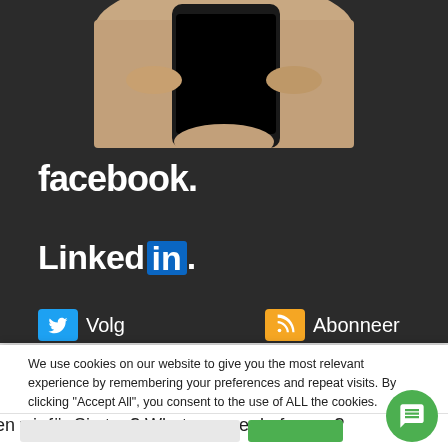[Figure (photo): A hand holding a smartphone, shown against a dark background. Only the top portion (hand and top of phone) is visible.]
[Figure (logo): Facebook logo in white text on dark background: 'facebook.']
[Figure (logo): LinkedIn logo with 'Linked' in white and 'in' in a blue box, followed by a dot, on dark background.]
[Figure (other): Twitter 'Volg' button (blue icon) and RSS 'Abonneer' button (orange icon) on dark background.]
We use cookies on our website to give you the most relevant experience by remembering your preferences and repeat visits. By clicking “Accept All”, you consent to the use of ALL the cookies. However, you may visit "Cookie Settings" to provide a controlled consent.
en wir für Sie tun? What can we do for you?